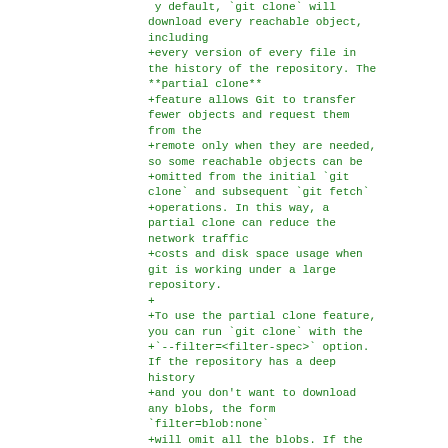y default, `git clone` will download every reachable object, including
+every version of every file in the history of the repository. The **partial clone**
+feature allows Git to transfer fewer objects and request them from the
+remote only when they are needed, so some reachable objects can be
+omitted from the initial `git clone` and subsequent `git fetch`
+operations. In this way, a partial clone can reduce the network traffic
+costs and disk space usage when git is working under a large repository.
+
+To use the partial clone feature, you can run `git clone` with the
+`--filter=<filter-spec>` option. If the repository has a deep history
+and you don't want to download any blobs, the form
`filter=blob:none`
+will omit all the blobs. If the repository has some large blobs
and you